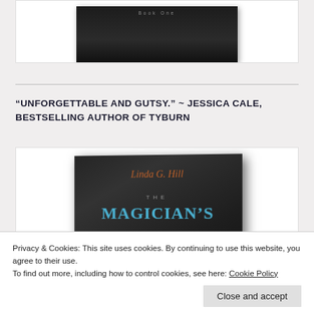[Figure (photo): Top portion of a book cover with dark background, partially cropped, showing 'Book One' text at the top]
[Figure (photo): Book cover of 'The Magician's' by Linda G. Hill, with dark background, author name in orange, title in blue letters]
“Unforgettable and Gutsy.” ~ Jessica Cale, Bestselling Author of Tyburn
Privacy & Cookies: This site uses cookies. By continuing to use this website, you agree to their use.
To find out more, including how to control cookies, see here: Cookie Policy
Close and accept